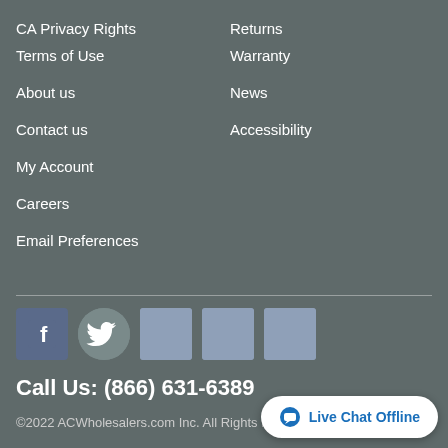CA Privacy Rights
Returns
Terms of Use
Warranty
About us
News
Contact us
Accessibility
My Account
Careers
Email Preferences
[Figure (illustration): Social media icons: Facebook, Twitter, and three additional social platform icons]
Call Us: (866) 631-6389
©2022 ACWholesalers.com Inc. All Rights Reserved
Live Chat Offline